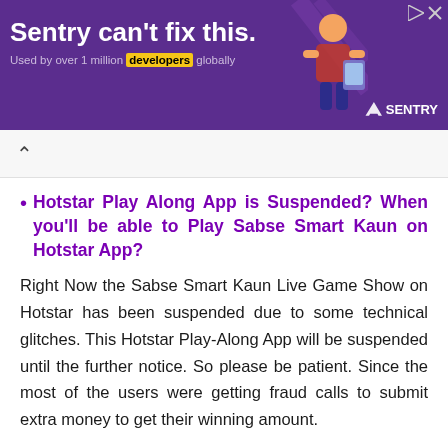[Figure (other): Purple advertisement banner for Sentry software. Text reads: 'Sentry can't fix this. Used by over 1 million developers globally' with Sentry logo and illustrated graphic on the right.]
Hotstar Play Along App is Suspended? When you'll be able to Play Sabse Smart Kaun on Hotstar App?
Right Now the Sabse Smart Kaun Live Game Show on Hotstar has been suspended due to some technical glitches. This Hotstar Play-Along App will be suspended until the further notice. So please be patient. Since the most of the users were getting fraud calls to submit extra money to get their winning amount.